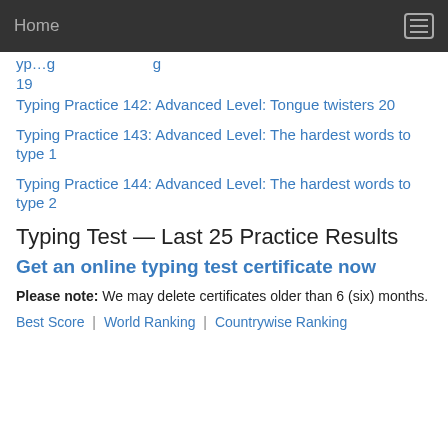Home
Typing Practice [truncated] 19
Typing Practice 142: Advanced Level: Tongue twisters 20
Typing Practice 143: Advanced Level: The hardest words to type 1
Typing Practice 144: Advanced Level: The hardest words to type 2
Typing Test — Last 25 Practice Results
Get an online typing test certificate now
Please note: We may delete certificates older than 6 (six) months.
Best Score | World Ranking | Countrywise Ranking